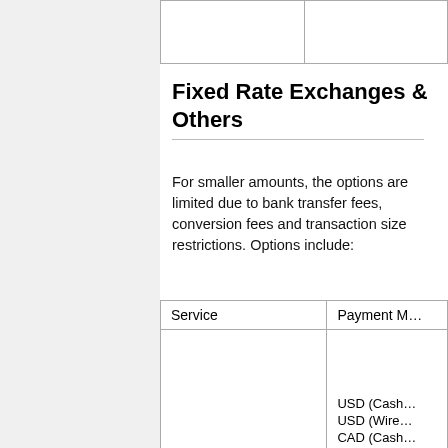|  |  |
Fixed Rate Exchanges & Others
For smaller amounts, the options are limited due to bank transfer fees, conversion fees and transaction size restrictions. Options include:
| Service | Payment M… |
| --- | --- |
|  | USD (Cash…
USD (Wire…
CAD (Cash…
CAD (Wire… |